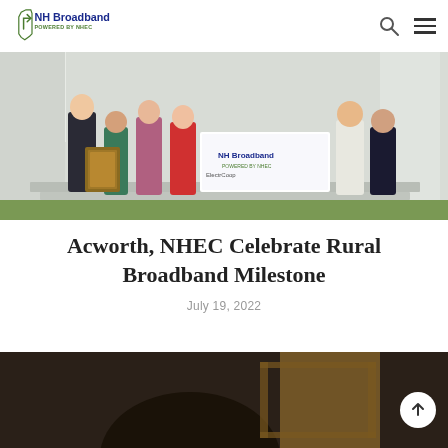NH Broadband Powered by NHEC
[Figure (photo): Group of people standing in front of a building, holding a framed award and a large check or sign with NH Broadband and related logos]
Acworth, NHEC Celebrate Rural Broadband Milestone
July 19, 2022
[Figure (photo): Partial photo at bottom of page, showing a person's head and what appears to be a doorway or window in a warm-toned interior setting]